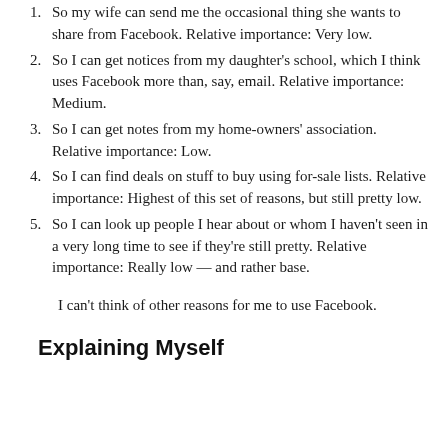1. So my wife can send me the occasional thing she wants to share from Facebook. Relative importance: Very low.
2. So I can get notices from my daughter's school, which I think uses Facebook more than, say, email. Relative importance: Medium.
3. So I can get notes from my home-owners' association. Relative importance: Low.
4. So I can find deals on stuff to buy using for-sale lists. Relative importance: Highest of this set of reasons, but still pretty low.
5. So I can look up people I hear about or whom I haven't seen in a very long time to see if they're still pretty. Relative importance: Really low — and rather base.
I can't think of other reasons for me to use Facebook.
Explaining Myself